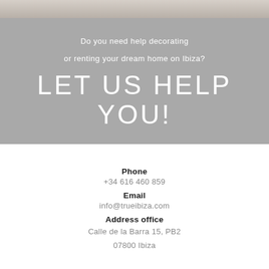[Figure (photo): Partial view of a beige/sandy textured image at the top of the page]
Do you need help decorating
or renting your dream home on Ibiza?
LET US HELP YOU!
Phone
+34 616 460 859
Email
info@trueibiza.com
Address office
Calle de la Barra 15, PB2
07800 Ibiza